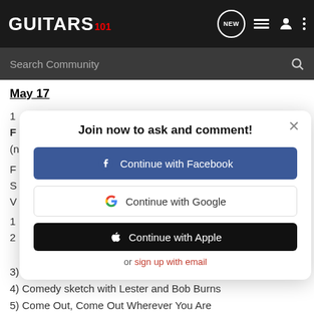GUITARS 101 — navigation header with search bar
May 17
Join now to ask and comment! Continue with Facebook | Continue with Google | Continue with Apple | or sign up with email
3) Some Other Time
4) Comedy sketch with Lester and Bob Burns
5) Come Out, Come Out Wherever You Are